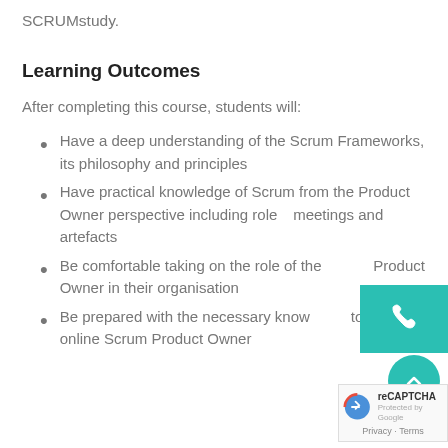SCRUMstudy.
Learning Outcomes
After completing this course, students will:
Have a deep understanding of the Scrum Frameworks, its philosophy and principles
Have practical knowledge of Scrum from the Product Owner perspective including roles, meetings and artefacts
Be comfortable taking on the role of the Product Owner in their organisation
Be prepared with the necessary knowledge to take the online Scrum Product Owner